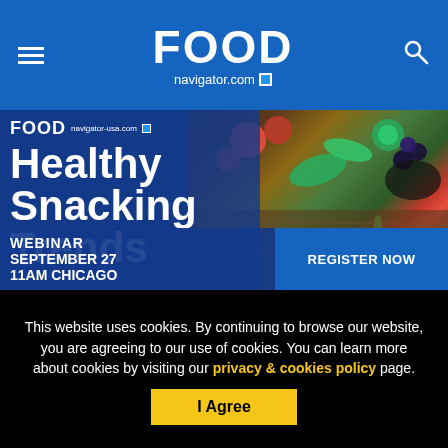FOOD navigator.com
[Figure (infographic): FoodNavigator-USA webinar advertisement for Healthy Snacking Trends, showing food photos on the right and blue overlay text on the left: 'Healthy Snacking Trends', 'WEBINAR SEPTEMBER 27 11AM CHICAGO', 'REGISTER NOW' button]
This website uses cookies. By continuing to browse our website, you are agreeing to our use of cookies. You can learn more about cookies by visiting our privacy & cookies policy page.
I Agree